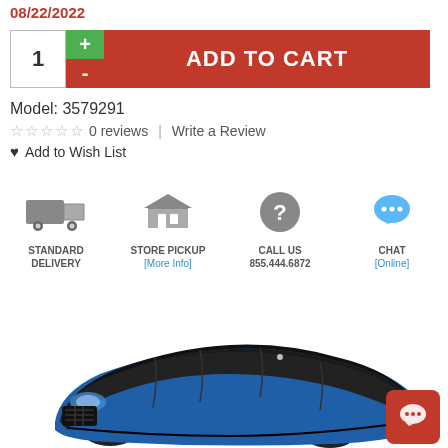08/22/2022
ADD TO CART (quantity: 1)
Model: 3579291
☆ ☆ ☆ ☆ ☆  0 reviews  |  Write a Review
♥ Add to Wish List
STANDARD DELIVERY | STORE PICKUP [More Info] | CALL US 855.444.6872 | CHAT [Online]
[Figure (photo): Blue Dodge Challenger car with black car cover partially covering it, shown from front-left angle]